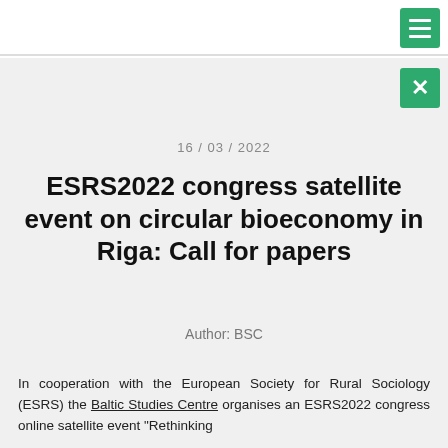16 / 03 / 2022
ESRS2022 congress satellite event on circular bioeconomy in Riga: Call for papers
Author: BSC
In cooperation with the European Society for Rural Sociology (ESRS) the Baltic Studies Centre organises an ESRS2022 congress online satellite event "Rethinking